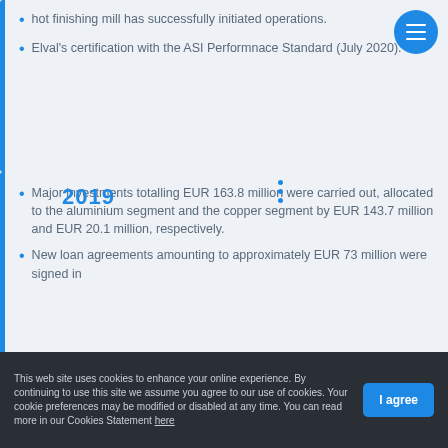hot finishing mill has successfully initiated operations.
Elval's certification with the ASI Performnace Standard (July 2020).
2019
Major investments totalling EUR 163.8 million were carried out, allocated to the aluminium segment and the copper segment by EUR 143.7 million and EUR 20.1 million, respectively.
New loan agreements amounting to approximately EUR 73 million were signed in
This web site uses cookies to enhance your online experience. By continuing to use this site we assume you agree to our use of cookies. Your cookie preferences may be modified or disabled at any time. You can read more in our Cookies Statement here